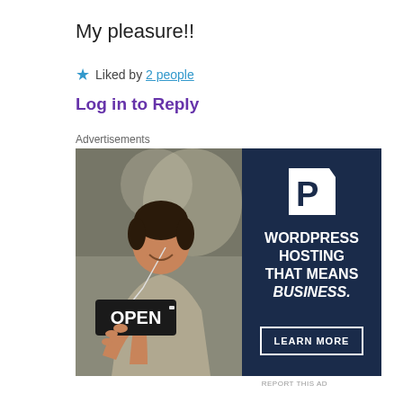My pleasure!!
★ Liked by 2 people
Log in to Reply
Advertisements
[Figure (illustration): WordPress hosting advertisement showing a woman smiling and holding an OPEN sign, with navy blue panel on right showing WordPress 'P' logo, text 'WORDPRESS HOSTING THAT MEANS BUSINESS.' and a 'LEARN MORE' button]
REPORT THIS AD